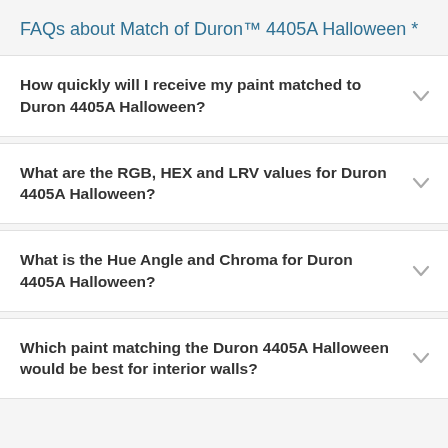FAQs about Match of Duron™ 4405A Halloween *
How quickly will I receive my paint matched to Duron 4405A Halloween?
What are the RGB, HEX and LRV values for Duron 4405A Halloween?
What is the Hue Angle and Chroma for Duron 4405A Halloween?
Which paint matching the Duron 4405A Halloween would be best for interior walls?